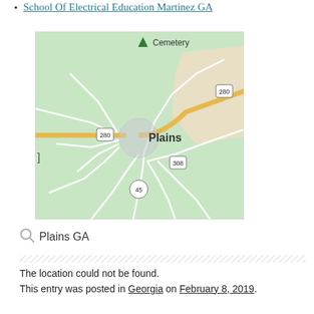School Of Electrical Education Martinez GA
[Figure (map): Google Maps view of Plains, GA showing Highway 280 running east-west through town, Route 308 and Route 45 branching south, a cemetery label to the north, and a beige area to the east. Plains is labeled in the map center with a circular highlight.]
Plains GA
The location could not be found.
This entry was posted in Georgia on February 8, 2019.